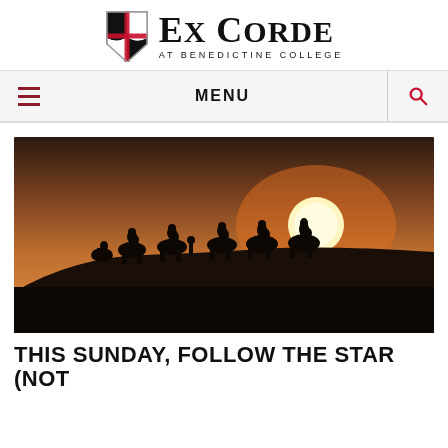[Figure (logo): Ex Corde at Benedictine College logo with shield and cross emblem]
MENU
[Figure (photo): Silhouette of camel caravan crossing a desert dune at sunset with bright orange sun on the horizon]
THIS SUNDAY, FOLLOW THE STAR (NOT